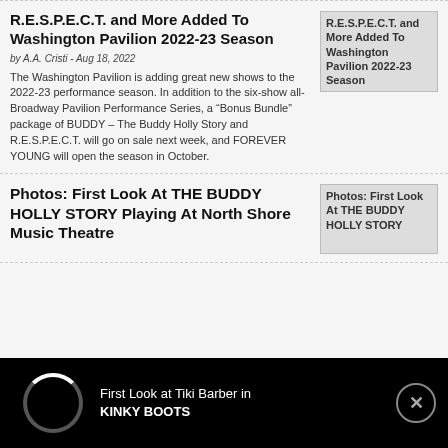R.E.S.P.E.C.T. and More Added To Washington Pavilion 2022-23 Season
by A.A. Cristi - Aug 18, 2022
The Washington Pavilion is adding great new shows to the 2022-23 performance season. In addition to the six-show all-Broadway Pavilion Performance Series, a “Bonus Bundle” package of BUDDY – The Buddy Holly Story and R.E.S.P.E.C.T. will go on sale next week, and FOREVER YOUNG will open the season in October.
[Figure (photo): Thumbnail image placeholder for R.E.S.P.E.C.T. and More Added To Washington Pavilion 2022-23 Season article]
Photos: First Look At THE BUDDY HOLLY STORY Playing At North Shore Music Theatre
[Figure (photo): Thumbnail image placeholder for Photos: First Look At THE BUDDY HOLLY STORY article]
First Look at Tiki Barber in KINKY BOOTS